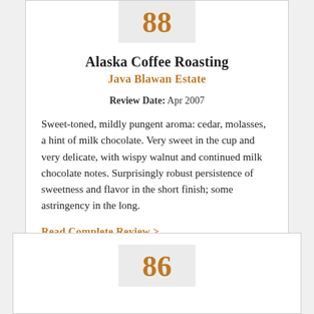88
Alaska Coffee Roasting
Java Blawan Estate
Review Date: Apr 2007
Sweet-toned, mildly pungent aroma: cedar, molasses, a hint of milk chocolate. Very sweet in the cup and very delicate, with wispy walnut and continued milk chocolate notes. Surprisingly robust persistence of sweetness and flavor in the short finish; some astringency in the long.
Read Complete Review >
86